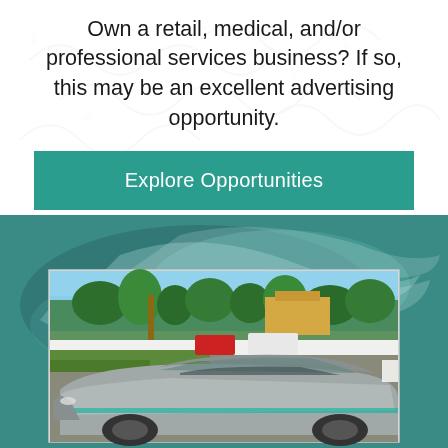Own a retail, medical, and/or professional services business? If so, this may be an excellent advertising opportunity.
Explore Opportunities
[Figure (photo): Teal/dark green background with swirling pattern overlay in the top area; below is a photo of a silver/grey sports car in a parking lot with palm trees, a building, and other vehicles in the background (Florida setting).]